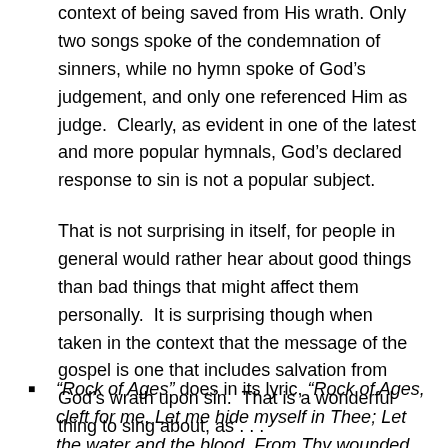context of being saved from His wrath. Only two songs spoke of the condemnation of sinners, while no hymn spoke of God's judgement, and only one referenced Him as judge.  Clearly, as evident in one of the latest and more popular hymnals, God's declared response to sin is not a popular subject.
That is not surprising in itself, for people in general would rather hear about good things than bad things that might affect them personally.  It is surprising though when taken in the context that the message of the gospel is one that includes salvation from God's wrath upon sin.  That is a wonderful thing to sing about, as . . .
“Rock of Ages” does in its lyric, “Rock of Ages, cleft for me, Let me hide myself in Thee; Let the water and the blood, From Thy wounded side which flowed, Be of sin the double cure, Save from wrath and make me pure."